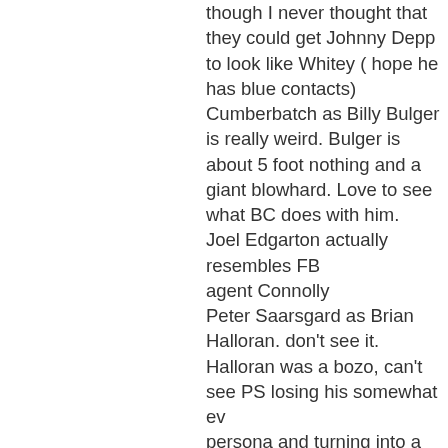though I never thought that they could get Johnny Depp to look like Whitey ( hope he has blue contacts) Cumberbatch as Billy Bulger is really weird. Bulger is about 5 foot nothing and a giant blowhard. Love to see what BC does with him.
Joel Edgarton actually resembles FBI agent Connolly
Peter Saarsgard as Brian Halloran. don't see it. Halloran was a bozo, can't see PS losing his somewhat even persona and turning into a balloonhead.
Jesse Plemons as Kevin Weeks? Meth Damon playing TwoWeeks? I bet Weeks thought Brad Pitt would
see more
2 ▲ | ▼
Reba ➤ kirbyjay
8 years ago